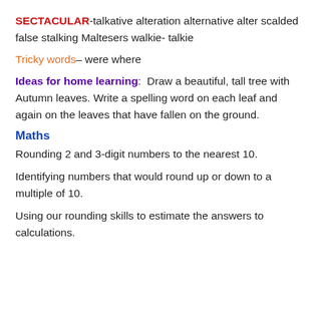SECTACULAR-talkative alteration alternative alter scalded false stalking Maltesers walkie- talkie
Tricky words– were where
Ideas for home learning: Draw a beautiful, tall tree with Autumn leaves. Write a spelling word on each leaf and again on the leaves that have fallen on the ground.
Maths
Rounding 2 and 3-digit numbers to the nearest 10.
Identifying numbers that would round up or down to a multiple of 10.
Using our rounding skills to estimate the answers to calculations.